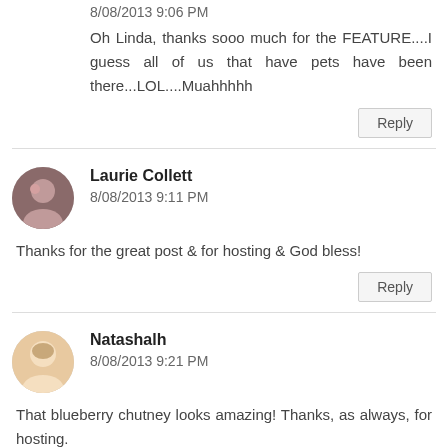8/08/2013 9:06 PM
Oh Linda, thanks sooo much for the FEATURE....I guess all of us that have pets have been there...LOL....Muahhhhh
Reply
Laurie Collett
8/08/2013 9:11 PM
Thanks for the great post & for hosting & God bless!
Reply
Natashalh
8/08/2013 9:21 PM
That blueberry chutney looks amazing! Thanks, as always, for hosting.